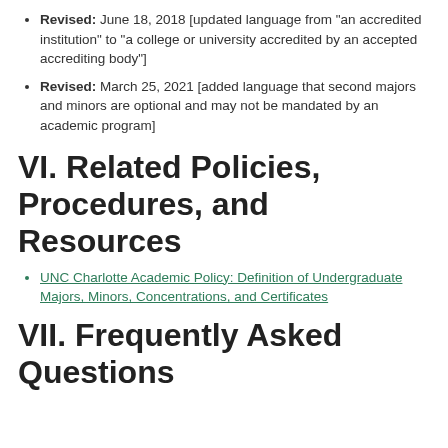Revised: June 18, 2018 [updated language from "an accredited institution" to "a college or university accredited by an accepted accrediting body"]
Revised: March 25, 2021 [added language that second majors and minors are optional and may not be mandated by an academic program]
VI. Related Policies, Procedures, and Resources
UNC Charlotte Academic Policy: Definition of Undergraduate Majors, Minors, Concentrations, and Certificates
VII. Frequently Asked Questions